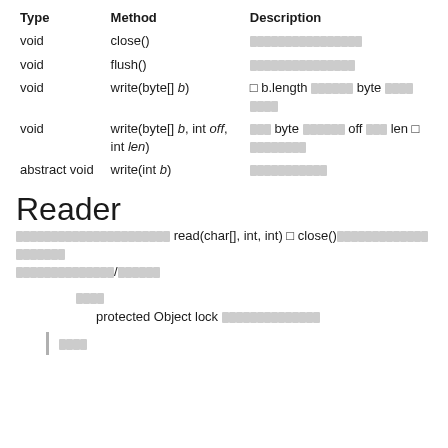| Type | Method | Description |
| --- | --- | --- |
| void | close() | ████████████████████ |
| void | flush() | ████████████████████ |
| void | write(byte[] b) | □ b.length ██████ byte ████ ████ |
| void | write(byte[] b, int off, int len) | ███ byte ███████ off ███ len □ ████████ |
| abstract void | write(int b) | ███████████ |
Reader
████████████████████████ read(char[], int, int) □ close()████████████████████ ██████████████/██████
フィールド
protected Object lock ██████████████
フィールド